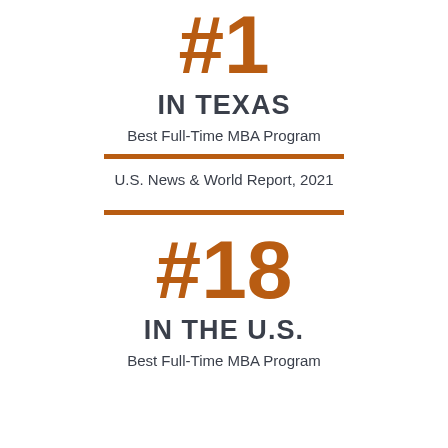#1
IN TEXAS
Best Full-Time MBA Program
U.S. News & World Report, 2021
#18
IN THE U.S.
Best Full-Time MBA Program